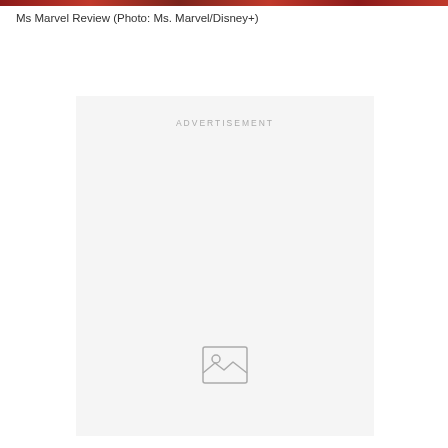[Figure (photo): Partial view of a Ms Marvel scene image at the very top of the page, cropped to a thin strip showing red/dark tones]
Ms Marvel Review (Photo: Ms. Marvel/Disney+)
[Figure (other): Advertisement placeholder box with light gray background, 'ADVERTISEMENT' label in small caps, and a broken image icon at the bottom center]